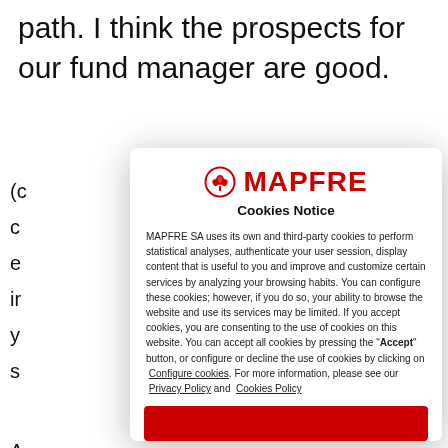path. I think the prospects for our fund manager are good.
(c
c
e
ir
y
s
A
s
c
li
fi
o
s
[Figure (screenshot): MAPFRE Cookies Notice modal dialog with logo, cookie policy text, links to Configure cookies, Privacy Policy, Cookies Policy, and a red Accept button at the bottom.]